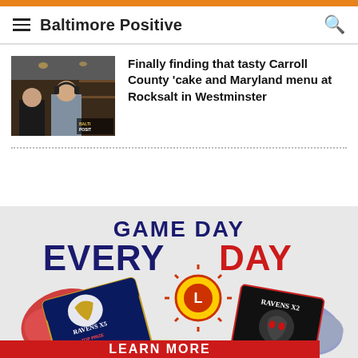Baltimore Positive
[Figure (photo): Two men standing in what appears to be a bar or restaurant, one wearing headphones; Baltimore Positive logo visible]
Finally finding that tasty Carroll County ‘cake and Maryland menu at Rocksalt in Westminster
[Figure (infographic): Game Day Every Day advertisement featuring Baltimore Ravens scratch tickets. Text: GAME DAY EVERY DAY, RAVENS X5 TOP PRIZE $100,000!, RAVENS X2, LEARN MORE]